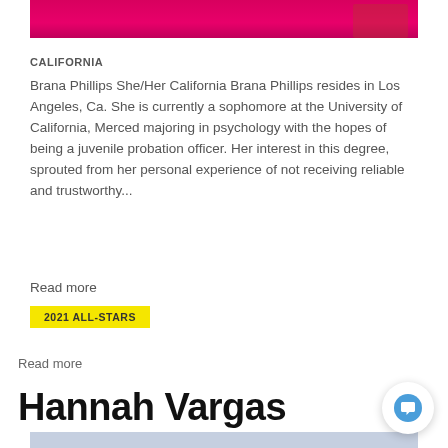[Figure (photo): Partial photo showing pink/magenta fabric clothing at the top of the page]
CALIFORNIA
Brana Phillips She/Her California Brana Phillips resides in Los Angeles, Ca. She is currently a sophomore at the University of California, Merced majoring in psychology with the hopes of being a juvenile probation officer. Her interest in this degree, sprouted from her personal experience of not receiving reliable and trustworthy...
Read more
2021 ALL-STARS
Read more
Hannah Vargas
[Figure (photo): Partial photo with light blue/grey background at the bottom of the page]